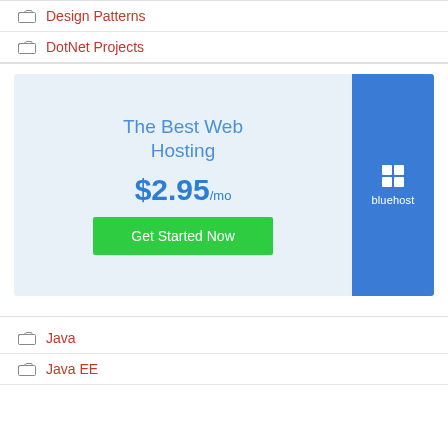Design Patterns
DotNet Projects
[Figure (infographic): Bluehost web hosting advertisement banner. Left section on light blue background shows 'The Best Web Hosting' text, '$2.95/mo' price, and a green 'Get Started Now' button. Right section is blue with the Bluehost logo (grid icon and 'bluehost' text).]
Java
Java EE